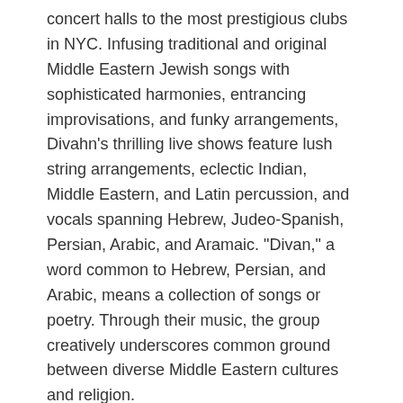concert halls to the most prestigious clubs in NYC. Infusing traditional and original Middle Eastern Jewish songs with sophisticated harmonies, entrancing improvisations, and funky arrangements, Divahn's thrilling live shows feature lush string arrangements, eclectic Indian, Middle Eastern, and Latin percussion, and vocals spanning Hebrew, Judeo-Spanish, Persian, Arabic, and Aramaic. "Divan," a word common to Hebrew, Persian, and Arabic, means a collection of songs or poetry. Through their music, the group creatively underscores common ground between diverse Middle Eastern cultures and religion.
UK Confucius Institute Presents Symposium on Jewish Refugees in Shanghai